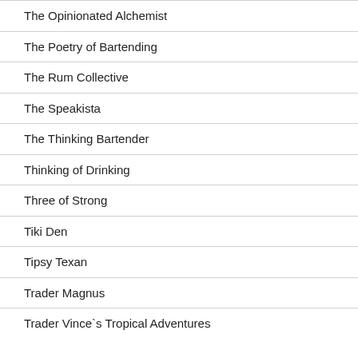The Opinionated Alchemist
The Poetry of Bartending
The Rum Collective
The Speakista
The Thinking Bartender
Thinking of Drinking
Three of Strong
Tiki Den
Tipsy Texan
Trader Magnus
Trader Vince`s Tropical Adventures